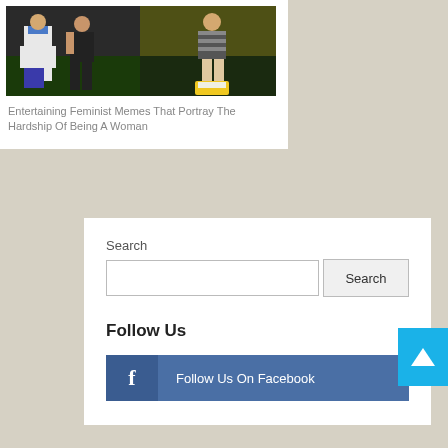[Figure (photo): Two-panel photo strip: left panel shows a baseball player in Dodgers uniform with a woman, right panel shows a woman in striped dress standing on a yellow bucket at a baseball field]
Entertaining Feminist Memes That Portray The Hardship Of Being A Woman
Search
Search
Follow Us
Follow Us On Facebook